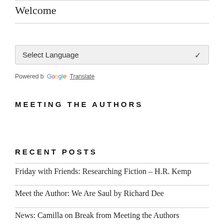Welcome
[Figure (screenshot): Language selector dropdown showing 'Select Language' with a chevron arrow, followed by 'Powered by Google Translate' text]
MEETING THE AUTHORS
RECENT POSTS
Friday with Friends: Researching Fiction – H.R. Kemp
Meet the Author: We Are Saul by Richard Dee
News: Camilla on Break from Meeting the Authors